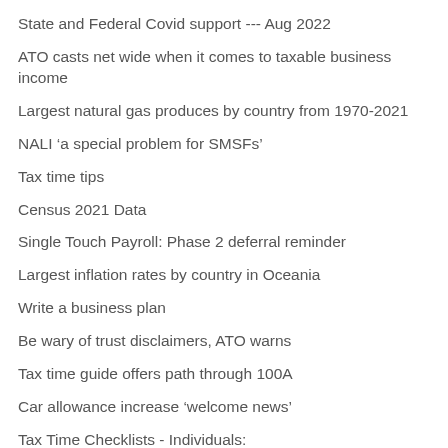State and Federal Covid support --- Aug 2022
ATO casts net wide when it comes to taxable business income
Largest natural gas produces by country from 1970-2021
NALI 'a special problem for SMSFs'
Tax time tips
Census 2021 Data
Single Touch Payroll: Phase 2 deferral reminder
Largest inflation rates by country in Oceania
Write a business plan
Be wary of trust disclaimers, ATO warns
Tax time guide offers path through 100A
Car allowance increase ‘welcome news’
Tax Time Checklists - Individuals: